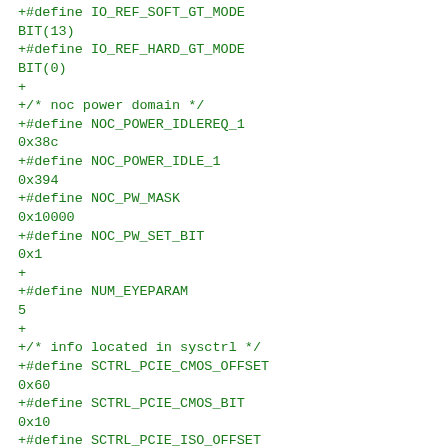+#define IO_REF_SOFT_GT_MODE BIT(13)
+#define IO_REF_HARD_GT_MODE BIT(0)
+
+/* noc power domain */
+#define NOC_POWER_IDLEREQ_1 0x38c
+#define NOC_POWER_IDLE_1 0x394
+#define NOC_PW_MASK 0x10000
+#define NOC_PW_SET_BIT 0x1
+
+#define NUM_EYEPARAM 5
+
+/* info located in sysctrl */
+#define SCTRL_PCIE_CMOS_OFFSET 0x60
+#define SCTRL_PCIE_CMOS_BIT 0x10
+#define SCTRL_PCIE_ISO_OFFSET 0x44
+#define SCTRL_PCIE_ISO_BIT 0x30
+#define SCTRL_PCIE_HPCLK_OFFSET 0x190
+#define SCTRL_PCIE_HPCLK_BIT